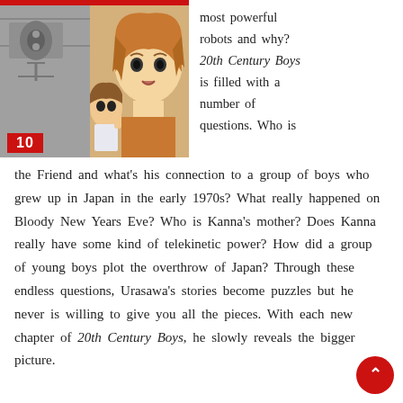[Figure (illustration): Manga illustration panel from 20th Century Boys showing two characters — a young girl and a teenager with orange/brown hair — against a grey mechanical/robot background. A red bar is at the top and a red badge with the number 10 is in the lower-left corner.]
most powerful robots and why? 20th Century Boys is filled with a number of questions. Who is
the Friend and what's his connection to a group of boys who grew up in Japan in the early 1970s? What really happened on Bloody New Years Eve? Who is Kanna's mother? Does Kanna really have some kind of telekinetic power? How did a group of young boys plot the overthrow of Japan? Through these endless questions, Urasawa's stories become puzzles but he never is willing to give you all the pieces. With each new chapter of 20th Century Boys, he slowly reveals the bigger picture.